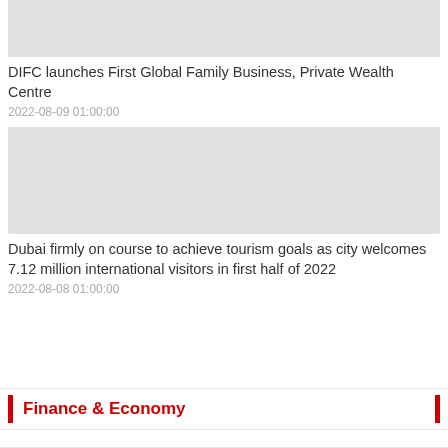[Figure (photo): Placeholder image for DIFC article]
DIFC launches First Global Family Business, Private Wealth Centre
2022-08-09 01:00:00
[Figure (photo): Placeholder image for Dubai tourism article]
Dubai firmly on course to achieve tourism goals as city welcomes 7.12 million international visitors in first half of 2022
2022-08-08 01:00:00
Finance & Economy